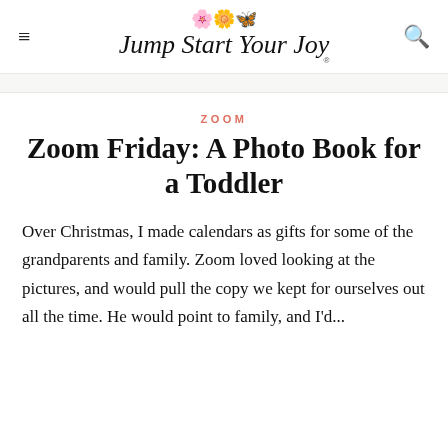Jump Start Your Joy
ZOOM
Zoom Friday: A Photo Book for a Toddler
Over Christmas, I made calendars as gifts for some of the grandparents and family. Zoom loved looking at the pictures, and would pull the copy we kept for ourselves out all the time. He would point to family, and I'd...